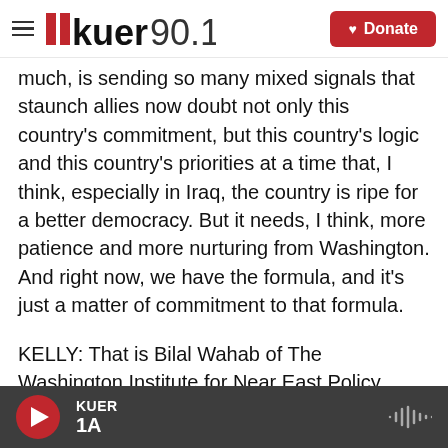KUER 90.1 — Donate
much, is sending so many mixed signals that staunch allies now doubt not only this country's commitment, but this country's logic and this country's priorities at a time that, I think, especially in Iraq, the country is ripe for a better democracy. But it needs, I think, more patience and more nurturing from Washington. And right now, we have the formula, and it's just a matter of commitment to that formula.
KELLY: That is Bilal Wahab of The Washington Institute for Near East Policy.
Thank you.
KUER 1A — audio player